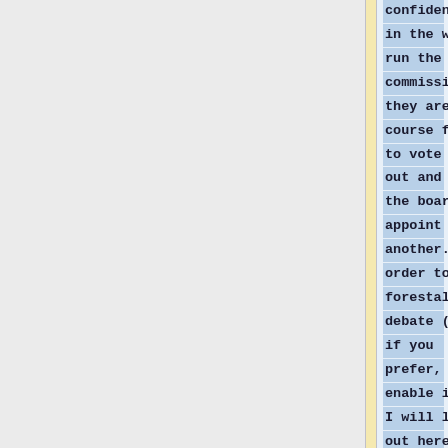confidence in the way I run the commission, they are of course free to vote me out and ask the board to appoint another. In order to forestall debate (or, if you prefer, to enable it), I will lay out here what my vision of the